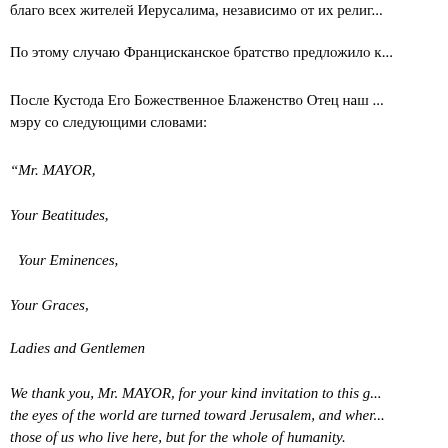благо всех жителей Иерусалима, независимо от их религ...
По этому случаю Францисканское братство предложило к...
После Кустода Его Божественное Блаженство Отец наш ... мэру со следующими словами:
“Mr. MAYOR,
Your Beatitudes,
Your Eminences,
Your Graces,
Ladies and Gentlemen
We thank you, Mr. MAYOR, for your kind invitation to this g... the eyes of the world are turned toward Jerusalem, and wher... those of us who live here, but for the whole of humanity.